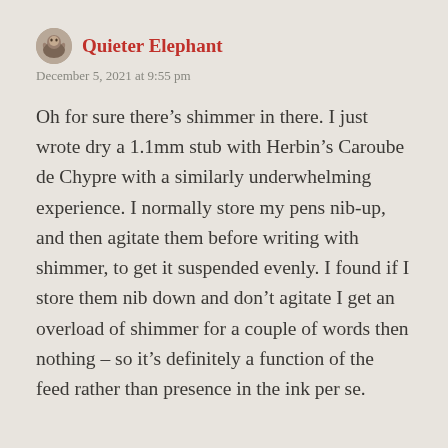Quieter Elephant
December 5, 2021 at 9:55 pm
Oh for sure there’s shimmer in there. I just wrote dry a 1.1mm stub with Herbin’s Caroube de Chypre with a similarly underwhelming experience. I normally store my pens nib-up, and then agitate them before writing with shimmer, to get it suspended evenly. I found if I store them nib down and don’t agitate I get an overload of shimmer for a couple of words then nothing – so it’s definitely a function of the feed rather than presence in the ink per se.